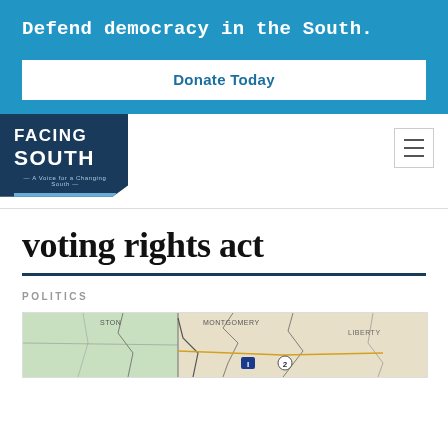Defend democracy in the South.
Donate Today
[Figure (logo): Facing South logo — navy blue background with white text reading FACING SOUTH, tagline 'A Voice for a Changing South', and banner reading 'CELEBRATING 50 YEARS']
[Figure (other): Hamburger menu icon (three horizontal lines) in a bordered square]
voting rights act
POLITICS
[Figure (map): Partial map showing Montgomery area with county boundaries and route markers, including areas labeled MONTGOMERY, LIBERTY, ISTON, and route 2]